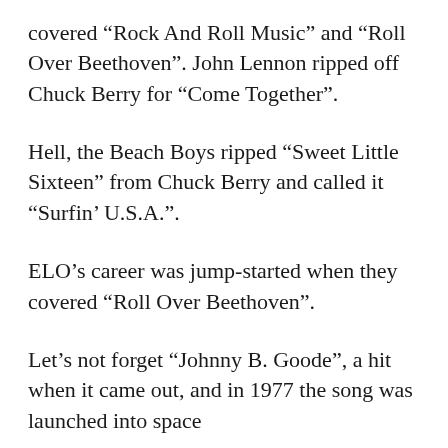covered “Rock And Roll Music” and “Roll Over Beethoven”. John Lennon ripped off Chuck Berry for “Come Together”.
Hell, the Beach Boys ripped “Sweet Little Sixteen” from Chuck Berry and called it “Surfin’ U.S.A.”.
ELO’s career was jump-started when they covered “Roll Over Beethoven”.
Let’s not forget “Johnny B. Goode”, a hit when it came out, and in 1977 the song was launched into space with the Voyager 1 and Voyager 2 after